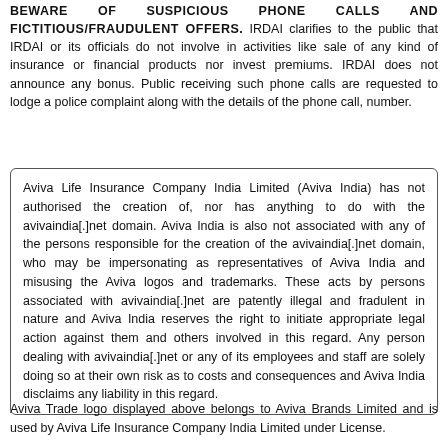BEWARE OF SUSPICIOUS PHONE CALLS AND FICTITIOUS/FRAUDULENT OFFERS. IRDAI clarifies to the public that IRDAI or its officials do not involve in activities like sale of any kind of insurance or financial products nor invest premiums. IRDAI does not announce any bonus. Public receiving such phone calls are requested to lodge a police complaint along with the details of the phone call, number.
Aviva Life Insurance Company India Limited (Aviva India) has not authorised the creation of, nor has anything to do with the avivaindia[.]net domain. Aviva India is also not associated with any of the persons responsible for the creation of the avivaindia[.]net domain, who may be impersonating as representatives of Aviva India and misusing the Aviva logos and trademarks. These acts by persons associated with avivaindia[.]net are patently illegal and fradulent in nature and Aviva India reserves the right to initiate appropriate legal action against them and others involved in this regard. Any person dealing with avivaindia[.]net or any of its employees and staff are solely doing so at their own risk as to costs and consequences and Aviva India disclaims any liability in this regard.
Aviva Trade logo displayed above belongs to Aviva Brands Limited and is used by Aviva Life Insurance Company India Limited under License.